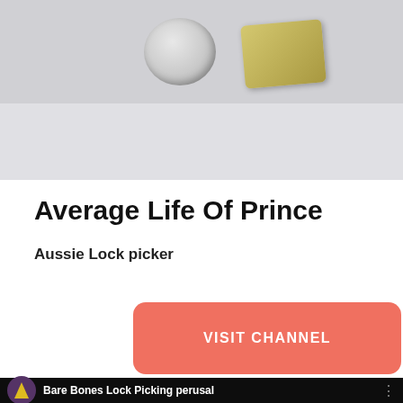[Figure (photo): Top portion of a photo showing two metallic lock-related objects on a light gray background]
Average Life Of Prince
Aussie Lock picker
[Figure (other): Red/coral rounded rectangle button with white text reading VISIT CHANNEL]
[Figure (screenshot): Dark screenshot of a YouTube video thumbnail showing 'Bare Bones Lock Picking perusal' with a circular channel icon on the left and three-dot menu on the right, and partial Bare Bones logo text at the bottom]